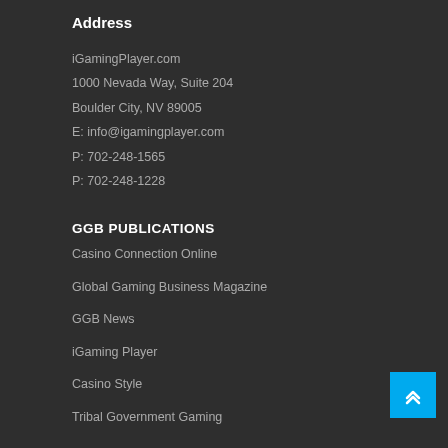Address
iGamingPlayer.com
1000 Nevada Way, Suite 204
Boulder City, NV 89005
E: info@igamingplayer.com
P: 702-248-1565
P: 702-248-1228
GGB PUBLICATIONS
Casino Connection Online
Global Gaming Business Magazine
GGB News
iGaming Player
Casino Style
Tribal Government Gaming
Follow Us On Twitter